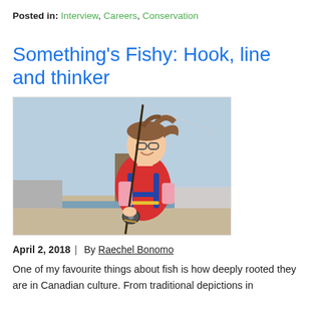Posted in: Interview, Careers, Conservation
Something's Fishy: Hook, line and thinker
[Figure (photo): A young girl wearing glasses and a red life jacket, smiling while holding a fishing rod outdoors near a waterfront.]
April 2, 2018  |  By Raechel Bonomo
One of my favourite things about fish is how deeply rooted they are in Canadian culture. From traditional depictions in